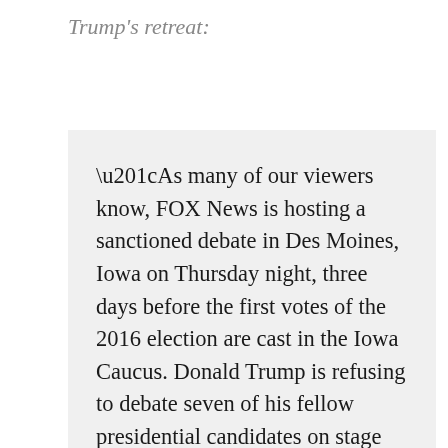Trump's retreat:
“As many of our viewers know, FOX News is hosting a sanctioned debate in Des Moines, Iowa on Thursday night, three days before the first votes of the 2016 election are cast in the Iowa Caucus. Donald Trump is refusing to debate seven of his fellow presidential candidates on stage that night,